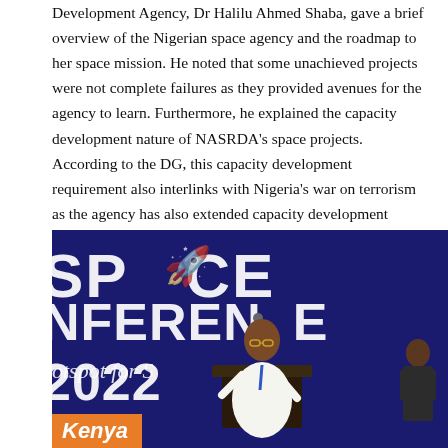Development Agency, Dr Halilu Ahmed Shaba, gave a brief overview of the Nigerian space agency and the roadmap to her space mission. He noted that some unachieved projects were not complete failures as they provided avenues for the agency to learn. Furthermore, he explained the capacity development nature of NASRDA's space projects. According to the DG, this capacity development requirement also interlinks with Nigeria's war on terrorism as the agency has also extended capacity development schemes to the military.
[Figure (photo): A speaker standing at a podium delivering a presentation at Africa Space Conference 2022, with a large banner reading 'SPACE CONFERENCE 2022' and 'Hotspot for S...' and 'Kenya' visible in the background. The banner is navy blue. A second person is partially visible at the bottom right.]